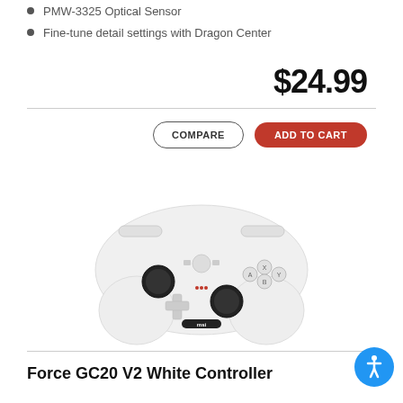PMW-3325 Optical Sensor
Fine-tune detail settings with Dragon Center
$24.99
COMPARE
ADD TO CART
[Figure (photo): MSI Force GC20 V2 White Controller — a white Xbox-style gamepad with black analog sticks, D-pad, face buttons, and MSI logo on the front]
Force GC20 V2 White Controller